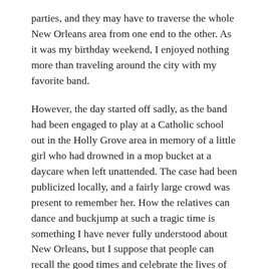parties, and they may have to traverse the whole New Orleans area from one end to the other. As it was my birthday weekend, I enjoyed nothing more than traveling around the city with my favorite band.
However, the day started off sadly, as the band had been engaged to play at a Catholic school out in the Holly Grove area in memory of a little girl who had drowned in a mop bucket at a daycare when left unattended. The case had been publicized locally, and a fairly large crowd was present to remember her. How the relatives can dance and buckjump at such a tragic time is something I have never fully understood about New Orleans, but I suppose that people can recall the good times and celebrate the lives of those who passed.
Other gigs were scattered around the city; one was in a ballroom at the Jung Hotel where we were kept waiting